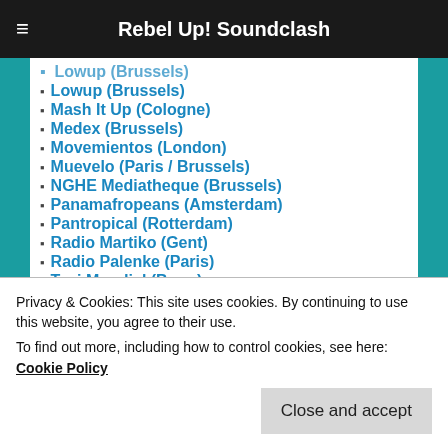Rebel Up! Soundclash
Lowup (Brussels)
Mash It Up (Cologne)
Medex (Brussels)
Movemientos (London)
Muevelo (Paris / Brussels)
NGHE Mediatheque (Brussels)
Panamafropeans (Amsterdam)
Pantropical (Rotterdam)
Radio Martiko (Gent)
Radio Palenke (Paris)
Taxi Mundjal (Bonn)
Tropikal Masala (Brussels / Paris)
Privacy & Cookies: This site uses cookies. By continuing to use this website, you agree to their use. To find out more, including how to control cookies, see here: Cookie Policy